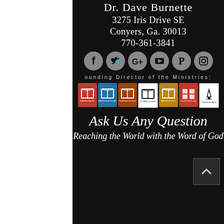Dr. Dave Burnette
3275 Iris Drive SE
Conyers, Ga. 30013
770-361-3841
[Figure (infographic): Social media icons row: Facebook, Twitter, Google+, YouTube, Pinterest, Instagram — all gray circle icons]
ounding Director of the Ministries:
[Figure (infographic): Row of 7 ministry logos with book icons on colored backgrounds: red (BibleSociety.US), blue (BibleSociety.Limited), orange/brown (TheGospel.Limited), black/white (TheBible.Limited), tan (BibleDirect.com), red (ChristCentric.org), white with tower (ThinkTown.World)]
Ask Us Any Question
Reaching the World with the Word of God